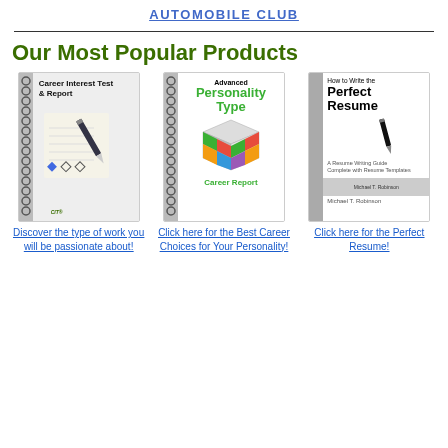AUTOMOBILE CLUB
Our Most Popular Products
[Figure (illustration): Book cover: Career Interest Test & Report with pen and checkboxes]
Discover the type of work you will be passionate about!
[Figure (illustration): Book cover: Advanced Personality Type Career Report with colorful Rubik's cube]
Click here for the Best Career Choices for Your Personality!
[Figure (illustration): Book cover: How to Write the Perfect Resume by Michael T. Robinson]
Click here for the Perfect Resume!